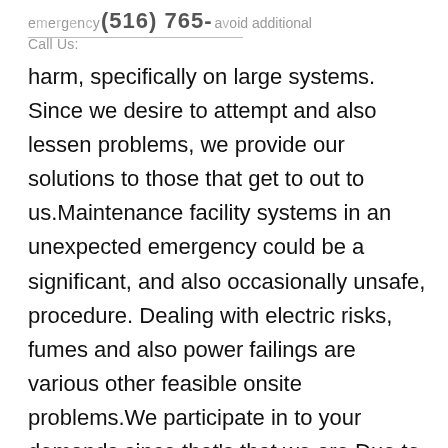Call Us: (516) 765- emergency that to avoid additional
harm, specifically on large systems. Since we desire to attempt and also lessen problems, we provide our solutions to those that get to out to us.Maintenance facility systems in an unexpected emergency could be a significant, and also occasionally unsafe, procedure. Dealing with electric risks, fumes and also power failings are various other feasible onsite problems.We participate in to your demands since that's that we are.Due to the fact that we are a